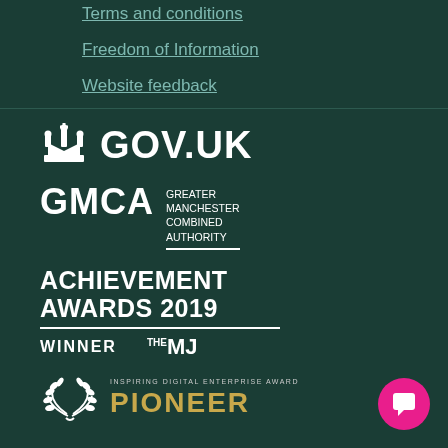Terms and conditions
Freedom of Information
Website feedback
[Figure (logo): GOV.UK logo with crown icon and white bold text]
[Figure (logo): GMCA Greater Manchester Combined Authority logo with white text]
[Figure (logo): Achievement Awards 2019 Winner - The MJ logo]
[Figure (logo): Inspiring Digital Enterprise Award Pioneer logo with laurel wreath and gold PIONEER text]
[Figure (other): Pink circular chat/feedback button in bottom right corner]